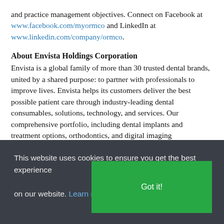and practice management objectives. Connect on Facebook at www.facebook.com/myormco and LinkedIn at www.linkedin.com/company/ormco.
About Envista Holdings Corporation
Envista is a global family of more than 30 trusted dental brands, united by a shared purpose: to partner with professionals to improve lives. Envista helps its customers deliver the best possible patient care through industry-leading dental consumables, solutions, technology, and services. Our comprehensive portfolio, including dental implants and treatment options, orthodontics, and digital imaging technologies, covers an estimated 90% of dentists' clinical needs for diagnosing, treating, and preventing dental
This website uses cookies to ensure you get the best experience on our website. Learn more